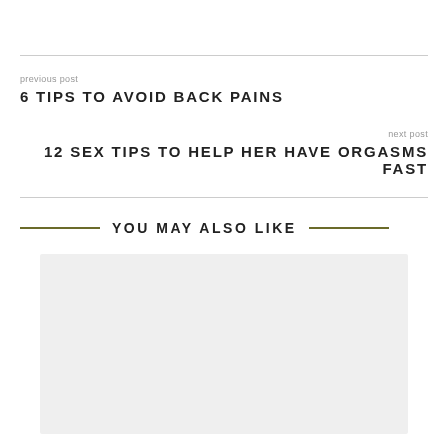previous post
6 TIPS TO AVOID BACK PAINS
next post
12 SEX TIPS TO HELP HER HAVE ORGASMS FAST
YOU MAY ALSO LIKE
[Figure (photo): Light grey rectangular image placeholder]